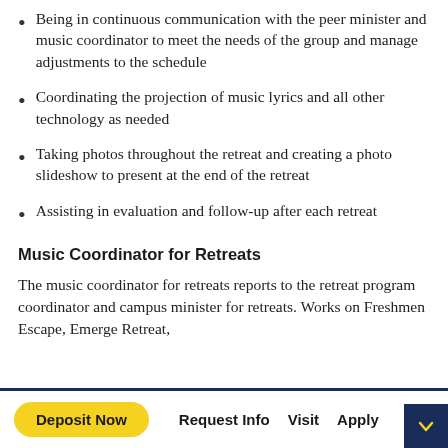Being in continuous communication with the peer minister and music coordinator to meet the needs of the group and manage adjustments to the schedule
Coordinating the projection of music lyrics and all other technology as needed
Taking photos throughout the retreat and creating a photo slideshow to present at the end of the retreat
Assisting in evaluation and follow-up after each retreat
Music Coordinator for Retreats
The music coordinator for retreats reports to the retreat program coordinator and campus minister for retreats. Works on Freshmen Escape, Emerge Retreat,
Deposit Now   Request Info   Visit   Apply